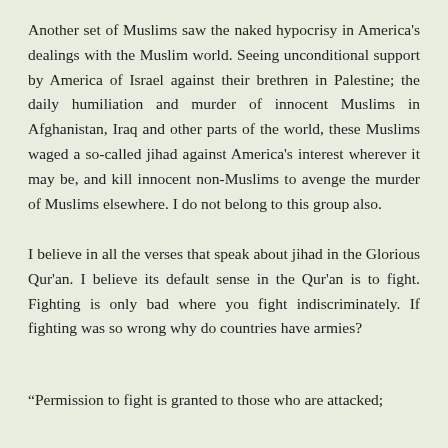Another set of Muslims saw the naked hypocrisy in America's dealings with the Muslim world. Seeing unconditional support by America of Israel against their brethren in Palestine; the daily humiliation and murder of innocent Muslims in Afghanistan, Iraq and other parts of the world, these Muslims waged a so-called jihad against America's interest wherever it may be, and kill innocent non-Muslims to avenge the murder of Muslims elsewhere. I do not belong to this group also.
I believe in all the verses that speak about jihad in the Glorious Qur'an. I believe its default sense in the Qur'an is to fight. Fighting is only bad where you fight indiscriminately. If fighting was so wrong why do countries have armies?
“Permission to fight is granted to those who are attacked;